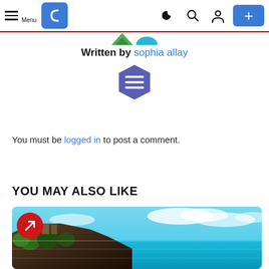Menu [nav bar with logo, icons, and + button]
[Figure (screenshot): Partial social share icons (green and blue) cropped at top]
Written by sophia allay
[Figure (logo): Purple hexagon badge with white lines icon]
You must be logged in to post a comment.
YOU MAY ALSO LIKE
[Figure (photo): Coastal ruins on cliff overlooking turquoise Caribbean sea with blue sky and clouds. Red circle badge with arrow in top-left corner.]